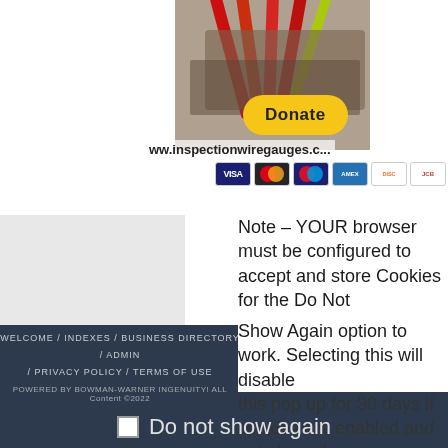[Figure (photo): Photo of colorful lanyards/badges fanned out, with red and green straps visible. Overlaid with a yellow Donate button and website URL www.inspectionwiregauges.com and payment method icons (VISA, Mastercard, Maestro, Amex, Discover, JCB).]
Note – YOUR browser must be configured to accept and store Cookies for the Do Not Show Again option to work. Selecting this will disable this pop up for 30 days if cookies are enabled and not cleared.
WELCOME / INDEXES / BUSINESS DIRECTORY / ADMIN / PRIVACY POLICY / TERMS OF USE
POWERED BY BOWMAN-WARNER INGENUITY! ALL Content ©2022
Do not show again